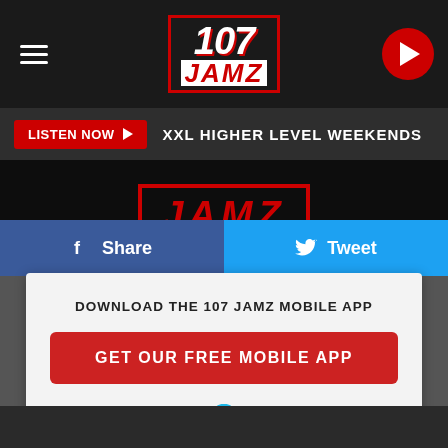[Figure (screenshot): 107 JAMZ radio station mobile app webpage screenshot showing navigation bar with logo, listen now bar, social share buttons, and mobile app download card with Amazon Alexa option]
107 JAMZ
LISTEN NOW ▶  XXL HIGHER LEVEL WEEKENDS
f Share
Tweet
DOWNLOAD THE 107 JAMZ MOBILE APP
GET OUR FREE MOBILE APP
Also listen on:  amazon alexa